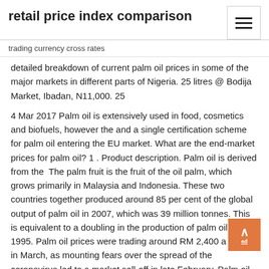retail price index comparison
trading currency cross rates
detailed breakdown of current palm oil prices in some of the major markets in different parts of Nigeria. 25 litres @ Bodija Market, Ibadan, N11,000. 25
4 Mar 2017 Palm oil is extensively used in food, cosmetics and biofuels, however the and a single certification scheme for palm oil entering the EU market. What are the end-market prices for palm oil? 1 . Product description. Palm oil is derived from the  The palm fruit is the fruit of the oil palm, which grows primarily in Malaysia and Indonesia. These two countries together produced around 85 per cent of the global output of palm oil in 2007, which was 39 million tonnes. This is equivalent to a doubling in the production of palm oil since 1995. Palm oil prices were trading around RM 2,400 a tonne in March, as mounting fears over the spread of the coronavirus led to a market sell-off in late February. Palm oil prices have declined nearly 19% since the start of the year after India stopped